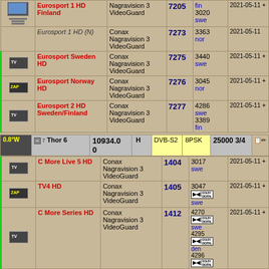| Icon | Channel | Encryption | SID | Audio/Lang | Date |
| --- | --- | --- | --- | --- | --- |
| [TV] | Eurosport 1 HD Finland | Nagravision 3 VideoGuard | 7205 | fin 3020 swe | 2021-05-11 + |
|  | Eurosport 1 HD (N) | Conax Nagravision 3 VideoGuard | 7273 | 3363 nor | 2021-05-11 |
| [TV] | Eurosport Sweden HD | Conax Nagravision 3 VideoGuard | 7275 | 3440 swe | 2021-05-11 + |
| [ZAP] | Eurosport Norway HD | Conax Nagravision 3 VideoGuard | 7276 | 3045 nor | 2021-05-11 + |
| [TV] | Eurosport 2 HD Sweden/Finland | Conax Nagravision 3 VideoGuard | 7277 | 4286 swe 3389 fin | 2021-05-11 + |
| Pos | Sat | Freq | Pol | System | Modulation | SR/FEC | Edit |
| --- | --- | --- | --- | --- | --- | --- | --- |
| 0.8°W | Thor 6 | 10934.00 | H | DVB-S2 | 8PSK | 25000 3/4 |  |
| Icon | Channel | Encryption | SID | Audio/Lang | Date |
| --- | --- | --- | --- | --- | --- |
| [TV] | C More Live 5 HD | Conax Nagravision 3 VideoGuard | 1404 | 3017 swe | 2021-05-11 + |
| [ZAP] | TV4 HD | Conax Nagravision 3 VideoGuard | 1405 | 3047 [Dolby] swe | 2021-05-11 + |
| [TV] | C More Series HD | Conax Nagravision 3 VideoGuard | 1412 | 4270 [Dolby] swe 4295 [Dolby] den 4296 | 2021-05-11 + |